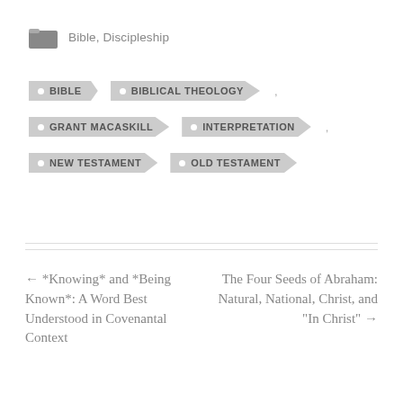Bible, Discipleship
BIBLE
BIBLICAL THEOLOGY
GRANT MACASKILL
INTERPRETATION
NEW TESTAMENT
OLD TESTAMENT
← *Knowing* and *Being Known*: A Word Best Understood in Covenantal Context
The Four Seeds of Abraham: Natural, National, Christ, and "In Christ" →